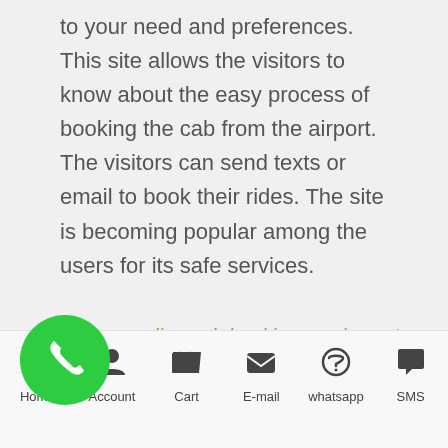to your need and preferences. This site allows the visitors to know about the easy process of booking the cab from the airport. The visitors can send texts or email to book their rides. The site is becoming popular among the users for its safe services.
[Figure (illustration): Green circular phone/call icon button]
e online cab booking service not only makes your journey secure but also help you to reach at your
Home | Account | Cart | E-mail | whatsapp | SMS